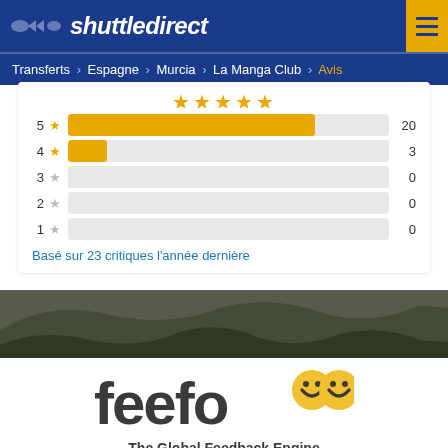shuttledirect
Transferts > Espagne > Murcia > La Manga Club > Avis
[Figure (bar-chart): Rating distribution]
Basé sur 23 critiques l'année dernière
[Figure (logo): Feefo logo - The Global Feedback Engine with yellow smiley eyes]
The Global Feedback Engine
[Figure (other): Five gold stars rating]